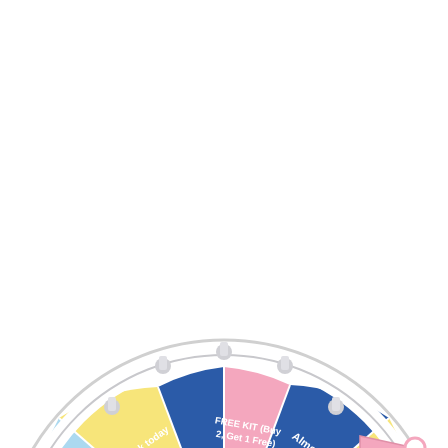[Figure (other): A prize spin wheel (partially visible, bottom half shown) with multiple colored segments: blue, pink, yellow, light blue. Segments are labeled: FREE SHIPPING, Almost, FREE KIT (Buy 2, Get 1 Free), No luck today, Sorry!, 30% OFF, Nothing, and more. The wheel has a white outer ring with gray pegs/handles. A pink arrow pointer points to 'No luck today' segment. A pink pig/monster character decorates the center hub.]